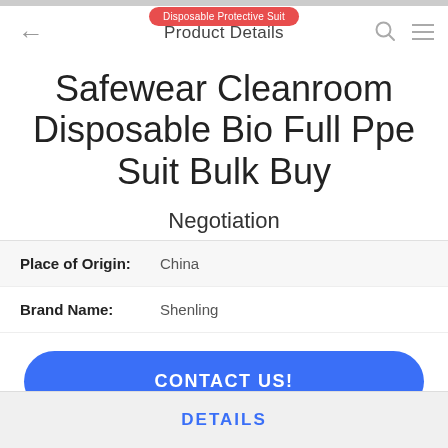Disposable Protective Suit
Product Details
Safewear Cleanroom Disposable Bio Full Ppe Suit Bulk Buy
Negotiation
| Field | Value |
| --- | --- |
| Place of Origin: | China |
| Brand Name: | Shenling |
CONTACT US!
DETAILS